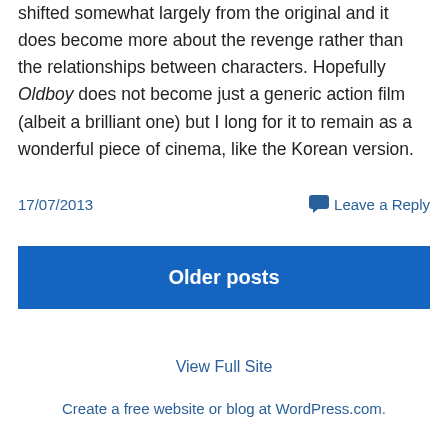shifted somewhat largely from the original and it does become more about the revenge rather than the relationships between characters. Hopefully Oldboy does not become just a generic action film (albeit a brilliant one) but I long for it to remain as a wonderful piece of cinema, like the Korean version.
17/07/2013
Leave a Reply
Older posts
View Full Site
Create a free website or blog at WordPress.com.